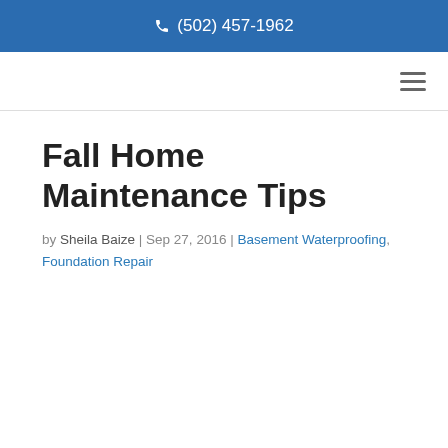(502) 457-1962
Fall Home Maintenance Tips
by Sheila Baize | Sep 27, 2016 | Basement Waterproofing, Foundation Repair